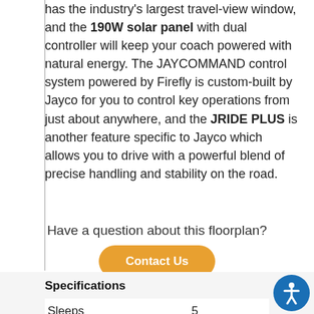has the industry's largest travel-view window, and the 190W solar panel with dual controller will keep your coach powered with natural energy. The JAYCOMMAND control system powered by Firefly is custom-built by Jayco for you to control key operations from just about anywhere, and the JRIDE PLUS is another feature specific to Jayco which allows you to drive with a powerful blend of precise handling and stability on the road.
Have a question about this floorplan?
Contact Us
Specifications
| Sleeps | 5 |
| Slides | 3 |